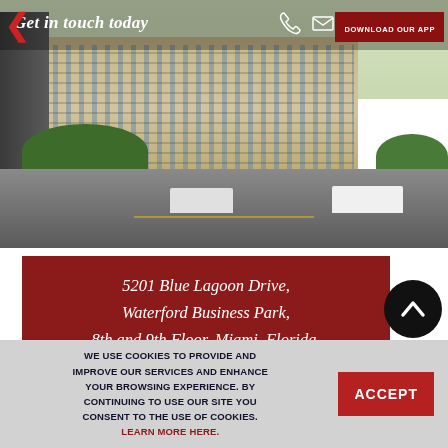[Figure (photo): Exterior photo of a large multi-story office building (Waterford Business Park) with palm trees, parked cars and trucks, and a roundabout driveway. Overlaid with navigation bar showing 'Get in touch today', phone and email icons, and 'DOWNLOAD OUR APP' button.]
5201 Blue Lagoon Drive, Waterford Business Park, 8th and 9th Floor, Miami, Florida, 33126
WE USE COOKIES TO PROVIDE AND IMPROVE OUR SERVICES AND ENHANCE YOUR BROWSING EXPERIENCE. BY CONTINUING TO USE OUR SITE YOU CONSENT TO THE USE OF COOKIES. LEARN MORE HERE.